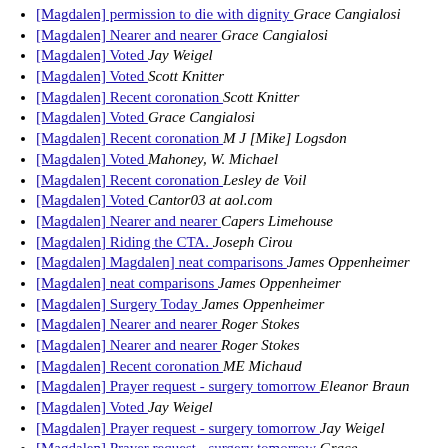[Magdalen] permission to die with dignity  Grace Cangialosi
[Magdalen] Nearer and nearer  Grace Cangialosi
[Magdalen] Voted  Jay Weigel
[Magdalen] Voted  Scott Knitter
[Magdalen] Recent coronation  Scott Knitter
[Magdalen] Voted  Grace Cangialosi
[Magdalen] Recent coronation  M J [Mike] Logsdon
[Magdalen] Voted  Mahoney, W. Michael
[Magdalen] Recent coronation  Lesley de Voil
[Magdalen] Voted  Cantor03 at aol.com
[Magdalen] Nearer and nearer  Capers Limehouse
[Magdalen] Riding the CTA.  Joseph Cirou
[Magdalen] Magdalen] neat comparisons  James Oppenheimer
[Magdalen] neat comparisons  James Oppenheimer
[Magdalen] Surgery Today  James Oppenheimer
[Magdalen] Nearer and nearer  Roger Stokes
[Magdalen] Nearer and nearer  Roger Stokes
[Magdalen] Recent coronation  ME Michaud
[Magdalen] Prayer request - surgery tomorrow  Eleanor Braun
[Magdalen] Voted  Jay Weigel
[Magdalen] Prayer request - surgery tomorrow  Jay Weigel
[Magdalen] Prayer request - surgery tomorrow  Grace